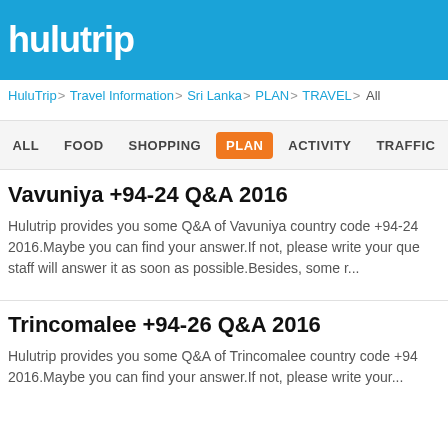hulutrip
HuluTrip > Travel Information > Sri Lanka > PLAN > TRAVEL > All
ALL   FOOD   SHOPPING   PLAN   ACTIVITY   TRAFFIC
Vavuniya +94-24 Q&A 2016
Hulutrip provides you some Q&A of Vavuniya country code +94-24 2016.Maybe you can find your answer.If not, please write your que staff will answer it as soon as possible.Besides, some r...
Trincomalee +94-26 Q&A 2016
Hulutrip provides you some Q&A of Trincomalee country code +94 2016.Maybe you can find your answer.If not, please write your...